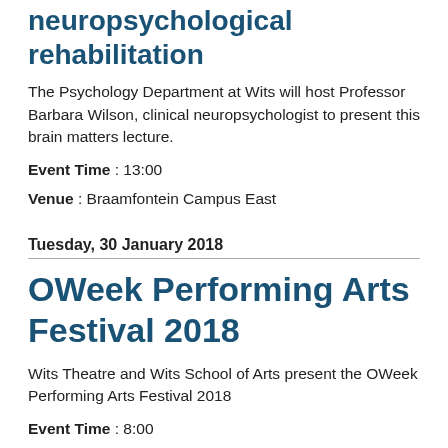NeuropsychologicalRehabilitation
The Psychology Department at Wits will host Professor Barbara Wilson, clinical neuropsychologist to present this brain matters lecture.
Event Time : 13:00
Venue : Braamfontein Campus East
Tuesday, 30 January 2018
OWeek Performing Arts Festival 2018
Wits Theatre and Wits School of Arts present the OWeek Performing Arts Festival 2018
Event Time : 8:00
Venue : Braamfontein Campus East